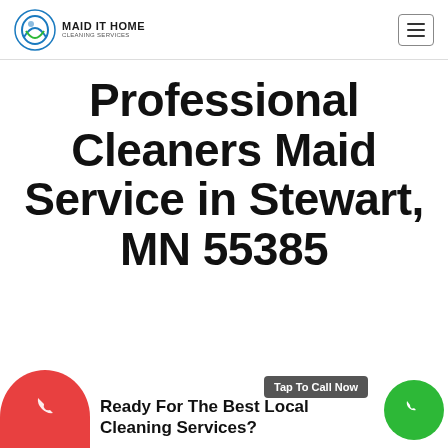MAID IT HOME CLEANING SERVICES
Professional Cleaners Maid Service in Stewart, MN 55385
Ready For The Best Local Cleaning Services?